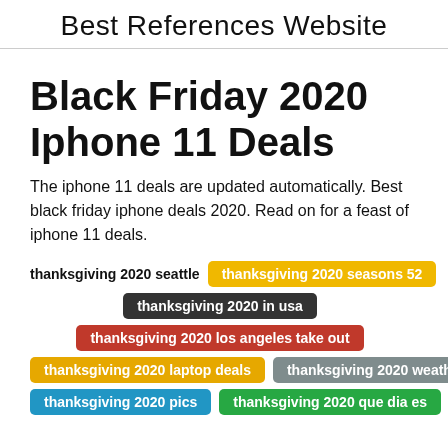Best References Website
Black Friday 2020 Iphone 11 Deals
The iphone 11 deals are updated automatically. Best black friday iphone deals 2020. Read on for a feast of iphone 11 deals.
thanksgiving 2020 seattle
thanksgiving 2020 seasons 52
thanksgiving 2020 in usa
thanksgiving 2020 los angeles take out
thanksgiving 2020 laptop deals
thanksgiving 2020 weather
thanksgiving 2020 pics
thanksgiving 2020 que dia es